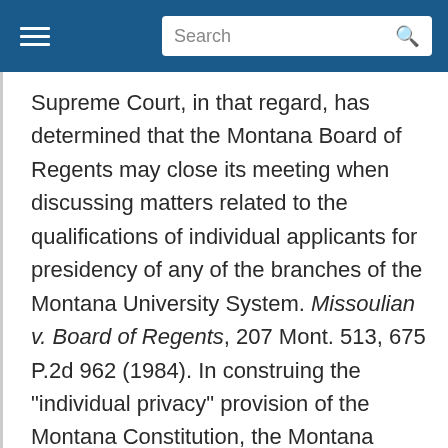Search
Supreme Court, in that regard, has determined that the Montana Board of Regents may close its meeting when discussing matters related to the qualifications of individual applicants for presidency of any of the branches of the Montana University System. Missoulian v. Board of Regents, 207 Mont. 513, 675 P.2d 962 (1984). In construing the "individual privacy" provision of the Montana Constitution, the Montana Supreme Court has refused to extend the privacy protection to corporations. See Great Falls Tribune v.